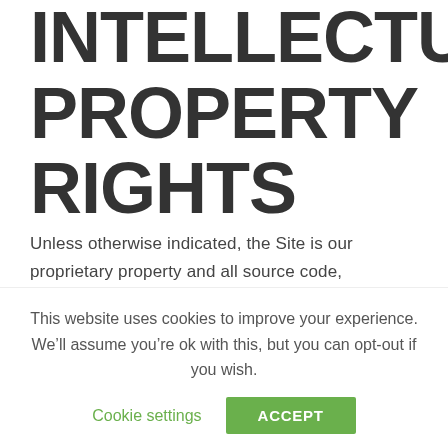INTELLECTUAL PROPERTY RIGHTS
Unless otherwise indicated, the Site is our proprietary property and all source code, databases, functionality, software, website designs, audio, video, text, photographs, and graphics on the Site (collectively, the “Content”) and the trademarks, service marks, and logos contained therein (the
This website uses cookies to improve your experience. We’ll assume you’re ok with this, but you can opt-out if you wish.
Cookie settings   ACCEPT